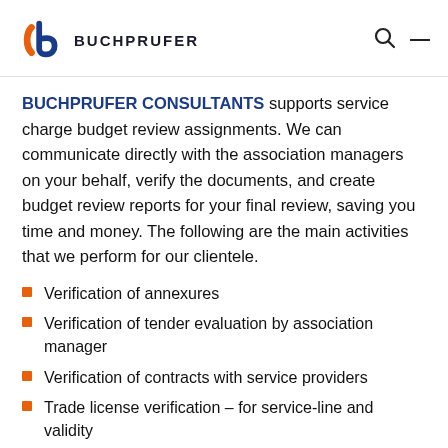BUCHPRUFER
BUCHPRUFER CONSULTANTS supports service charge budget review assignments. We can communicate directly with the association managers on your behalf, verify the documents, and create budget review reports for your final review, saving you time and money. The following are the main activities that we perform for our clientele.
Verification of annexures
Verification of tender evaluation by association manager
Verification of contracts with service providers
Trade license verification – for service-line and validity
Verifying the review disclosure checklist